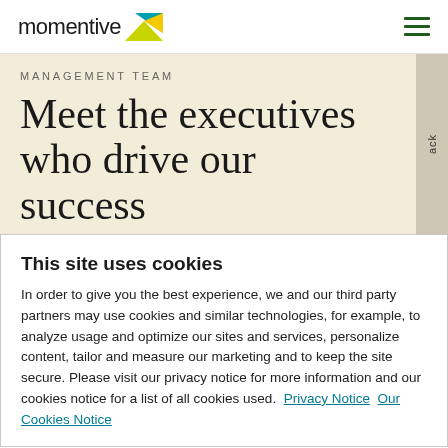momentive
MANAGEMENT TEAM
Meet the executives who drive our success
This site uses cookies
In order to give you the best experience, we and our third party partners may use cookies and similar technologies, for example, to analyze usage and optimize our sites and services, personalize content, tailor and measure our marketing and to keep the site secure. Please visit our privacy notice for more information and our cookies notice for a list of all cookies used.  Privacy Notice  Our Cookies Notice